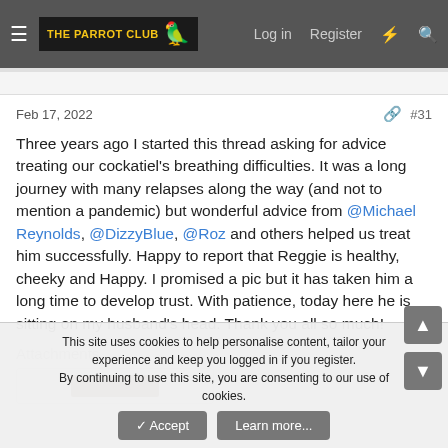The Parrot Club — Log in  Register
Feb 17, 2022   #31
Three years ago I started this thread asking for advice treating our cockatiel's breathing difficulties. It was a long journey with many relapses along the way (and not to mention a pandemic) but wonderful advice from @Michael Reynolds, @DizzyBlue, @Roz and others helped us treat him successfully. Happy to report that Reggie is healthy, cheeky and Happy. I promised a pic but it has taken him a long time to develop trust. With patience, today here he is sitting on my husband's head. Thank you all so much!
Attachments
[Figure (photo): Thumbnail of an attachment image showing a partial photo (brown tones visible)]
This site uses cookies to help personalise content, tailor your experience and keep you logged in if you register.
By continuing to use this site, you are consenting to our use of cookies.
✓ Accept    Learn more...